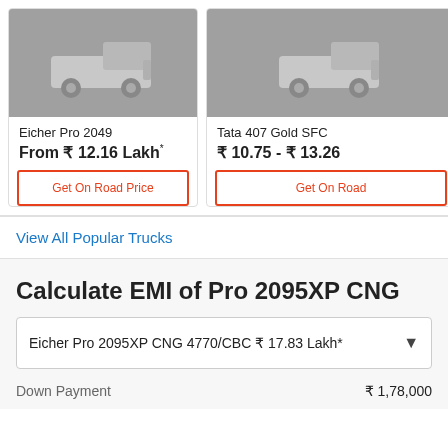[Figure (illustration): Eicher Pro 2049 truck placeholder image on grey background]
Eicher Pro 2049
From ₹ 12.16 Lakh*
Get On Road Price
[Figure (illustration): Tata 407 Gold SFC truck placeholder image on grey background (partially cropped)]
Tata 407 Gold SFC
₹ 10.75 - ₹ 13.26
Get On Road
View All Popular Trucks
Calculate EMI of Pro 2095XP CNG
Eicher Pro 2095XP CNG 4770/CBC ₹ 17.83 Lakh*
Down Payment
₹ 1,78,000